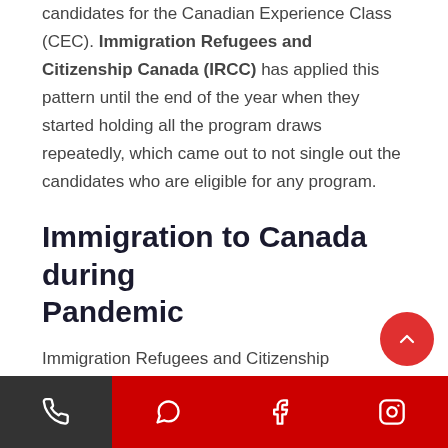candidates for the Canadian Experience Class (CEC). Immigration Refugees and Citizenship Canada (IRCC) has applied this pattern until the end of the year when they started holding all the program draws repeatedly, which came out to not single out the candidates who are eligible for any program.
Immigration to Canada during Pandemic
Immigration Refugees and Citizenship Canada(IRCC) is back again withholding the provincial program system (PNP) and Canadian Experience Class (CEC) certified draws. Th...